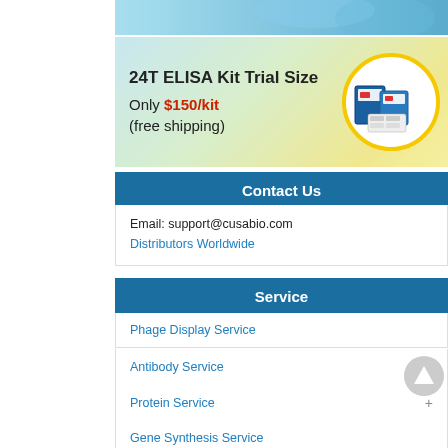[Figure (illustration): Top banner with light blue gradient background, partial view of products]
[Figure (illustration): ELISA Kit Trial Size promotional banner: '24T ELISA Kit Trial Size', 'Only $150/kit (free shipping)' with circular image of kit products on yellow/green/blue gradient background]
Contact Us
Email: support@cusabio.com
Distributors Worldwide
Service
Phage Display Service
Antibody Service
Protein Service
Gene Synthesis Service